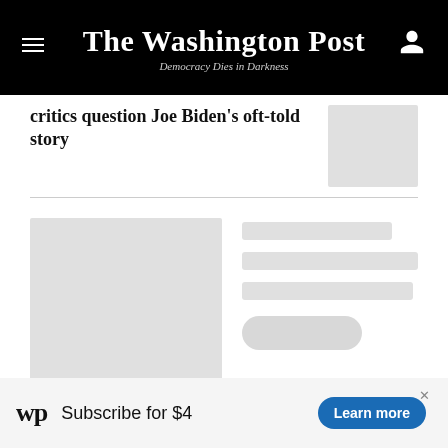The Washington Post — Democracy Dies in Darkness
critics question Joe Biden's oft-told story
[Figure (photo): Thumbnail image placeholder (light gray rectangle)]
[Figure (photo): Large article image placeholder (light gray rectangle)]
[Figure (other): Loading skeleton: short line, two full lines, pill button]
[Figure (other): Advertisement bar: Washington Post logo, Subscribe for $4, Learn more button]